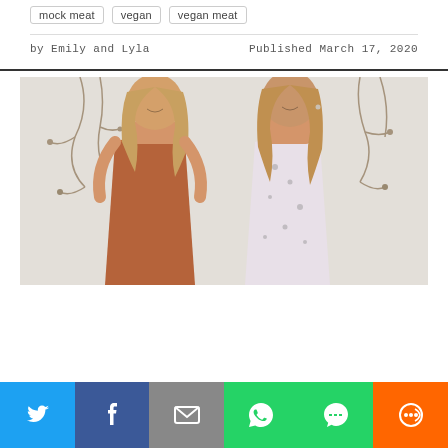mock meat   vegan   vegan meat
by Emily and Lyla   Published March 17, 2020
[Figure (photo): Two young blonde women smiling, standing in front of a white brick wall with bare winter vines. The woman on the left wears a rust/terracotta colored strapless dress; the woman on the right wears a white floral/patterned spaghetti-strap dress.]
[Figure (infographic): Social sharing bar at the bottom with six buttons: Twitter (blue), Facebook (dark blue), Email (gray), WhatsApp (green), SMS (green), More (orange)]